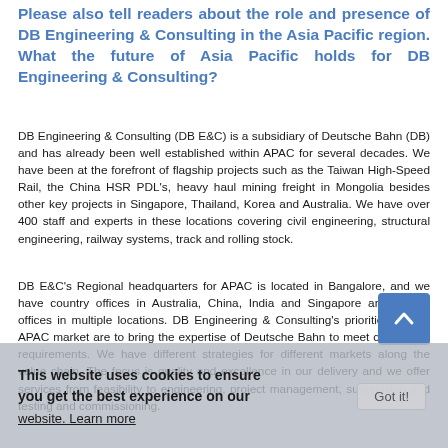Please also tell readers about the role and presence of DB Engineering & Consulting in the Asia Pacific region. What the future of Asia Pacific holds for DB Engineering & Consulting?
DB Engineering & Consulting (DB E&C) is a subsidiary of Deutsche Bahn (DB) and has already been well established within APAC for several decades. We have been at the forefront of flagship projects such as the Taiwan High-Speed Rail, the China HSR PDL's, heavy haul mining freight in Mongolia besides other key projects in Singapore, Thailand, Korea and Australia. We have over 400 staff and experts in these locations covering civil engineering, structural engineering, railway systems, track and rolling stock.
DB E&C's Regional headquarters for APAC is located in Bangalore, and we have country offices in Australia, China, India and Singapore and project offices in multiple locations. DB Engineering & Consulting's priorities for the APAC market are to bring the expertise of Deutsche Bahn to meet customers' requirements. We have different strategies for different markets along the value chain. The focus is quality and excellence in our delivery and we offer services from feasibility to engineering, project management, supervision and testing and commissioning.
This website uses cookies to ensure you get the best experience on our website. Learn more